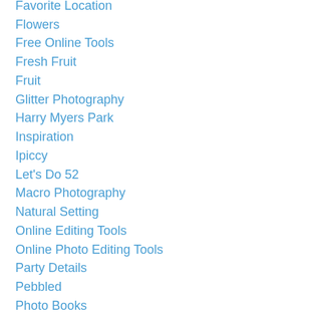Favorite Location
Flowers
Free Online Tools
Fresh Fruit
Fruit
Glitter Photography
Harry Myers Park
Inspiration
Ipiccy
Let's Do 52
Macro Photography
Natural Setting
Online Editing Tools
Online Photo Editing Tools
Party Details
Pebbled
Photo Books
Photo Display
Photography
Photos
Photo Session